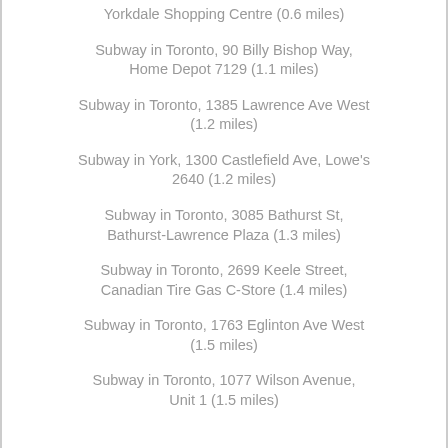Yorkdale Shopping Centre (0.6 miles)
Subway in Toronto, 90 Billy Bishop Way, Home Depot 7129 (1.1 miles)
Subway in Toronto, 1385 Lawrence Ave West (1.2 miles)
Subway in York, 1300 Castlefield Ave, Lowe's 2640 (1.2 miles)
Subway in Toronto, 3085 Bathurst St, Bathurst-Lawrence Plaza (1.3 miles)
Subway in Toronto, 2699 Keele Street, Canadian Tire Gas C-Store (1.4 miles)
Subway in Toronto, 1763 Eglinton Ave West (1.5 miles)
Subway in Toronto, 1077 Wilson Avenue, Unit 1 (1.5 miles)